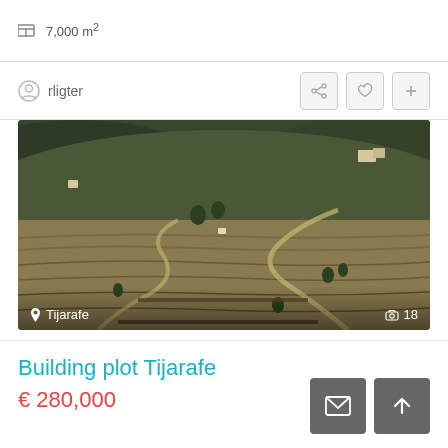7,000 m²
rligter
[Figure (photo): Aerial drone photograph of terraced hillside land in Tijarafe, showing agricultural terraces, winding dirt roads, scattered houses among dense vegetation, dry landscape with sparse trees. Location label 'Tijarafe' bottom left, photo count '18' bottom right.]
Building plot Tijarafe
€ 280,000